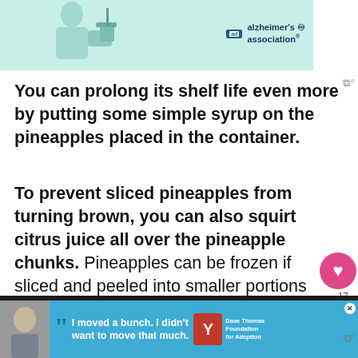[Figure (illustration): Advertisement banner with teal/mint background showing a person illustration, with 'ad' badge and Alzheimer's Association logo]
You can prolong its shelf life even more by putting some simple syrup on the pineapples placed in the container.
To prevent sliced pineapples from turning brown, you can also squirt citrus juice all over the pineapple chunks. Pineapples can be frozen if sliced and peeled into smaller portions and stored in a covered container or resealable plastic bag.
[Figure (infographic): WHAT'S NEXT arrow label with thumbnail image and text '7 Ways to Tell If a Pineappl...']
[Figure (infographic): Bottom advertisement banner with dark background, photo of young man, blue content area with quote 'I moved a bunch. I didn't want to move that much.' and Dave Thomas Foundation for Adoption logo]